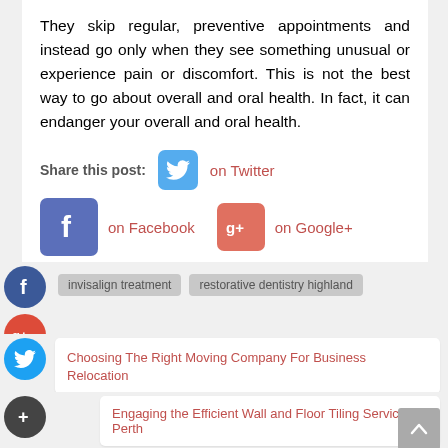They skip regular, preventive appointments and instead go only when they see something unusual or experience pain or discomfort. This is not the best way to go about overall and oral health. In fact, it can endanger your overall and oral health.
Share this post:  on Twitter  on Facebook  on Google+
invisalign treatment
restorative dentistry highland
Choosing The Right Moving Company For Business Relocation
Engaging the Efficient Wall and Floor Tiling Service in Perth